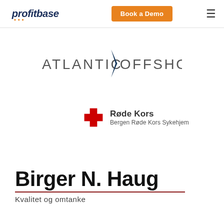[Figure (logo): Profitbase logo — stylized text 'profitbase' in dark blue italic with orange dotted underline decoration]
[Figure (logo): Book a Demo button — orange rounded rectangle with white bold text 'Book a Demo']
[Figure (logo): Hamburger menu icon — three horizontal lines]
[Figure (logo): Atlantic Offshore logo — uppercase gray text 'ATLANTIC OFFSHORE' with a dark blue angular arrow/chevron separator between the words]
[Figure (logo): Røde Kors Bergen logo — red cross icon on left, bold text 'Røde Kors' with subtitle 'Bergen Røde Kors Sykehjem']
[Figure (logo): Birger N. Haug logo — large bold black text 'Birger N. Haug' with dark red double underline, subtitle 'Kvalitet og omtanke']